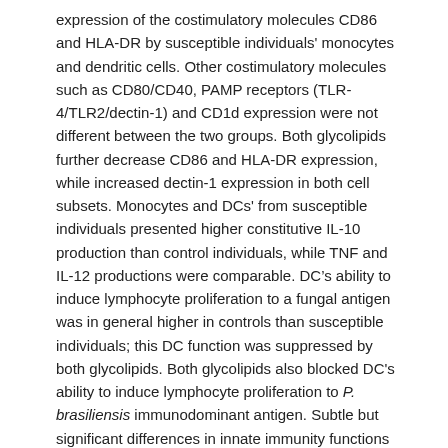expression of the costimulatory molecules CD86 and HLA-DR by susceptible individuals' monocytes and dendritic cells. Other costimulatory molecules such as CD80/CD40, PAMP receptors (TLR-4/TLR2/dectin-1) and CD1d expression were not different between the two groups. Both glycolipids further decrease CD86 and HLA-DR expression, while increased dectin-1 expression in both cell subsets. Monocytes and DCs' from susceptible individuals presented higher constitutive IL-10 production than control individuals, while TNF and IL-12 productions were comparable. DC's ability to induce lymphocyte proliferation to a fungal antigen was in general higher in controls than susceptible individuals; this DC function was suppressed by both glycolipids. Both glycolipids also blocked DC's ability to induce lymphocyte proliferation to P. brasiliensis immunodominant antigen. Subtle but significant differences in innate immunity functions and responses to P. brasiliensis glycolipids between “susceptible” and control individuals may underlie the mechanisms involved in resistance/susceptibility to